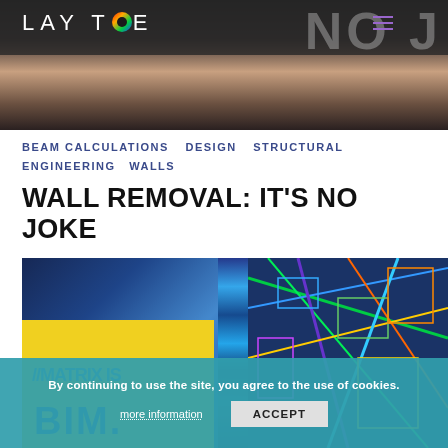LAYTOE — NO J (website header with logo and navigation)
[Figure (photo): Header banner photo showing a person working on a wall surface, with construction/demolition imagery. Dark overlay at top with LAYTOE logo and NO J text.]
BEAM CALCULATIONS  DESIGN  STRUCTURAL ENGINEERING  WALLS
WALL REMOVAL: IT'S NO JOKE
[Figure (screenshot): Second image showing a BIM/structural engineering 3D model visualization. Left portion has yellow background with '//' and 'BIM.' text. Right portion shows colorful 3D structural/engineering BIM model with green, blue, orange lines.]
By continuing to use the site, you agree to the use of cookies.
more information  ACCEPT